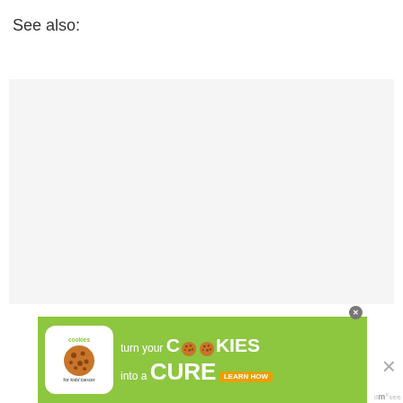See also:
[Figure (other): Gray empty content area placeholder]
[Figure (other): Advertisement banner: Cookies for Kids Cancer - turn your COOKIES into a CURE LEARN HOW]